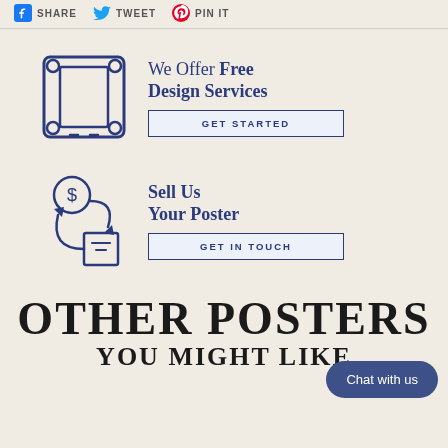SHARE  TWEET  PIN IT
[Figure (infographic): Blue outline icon of a picture frame / canvas stretcher with corner brackets]
We Offer Free Design Services
GET STARTED
[Figure (infographic): Blue outline icon of a dollar-coin and a box with circular arrows indicating exchange/sell]
Sell Us Your Poster
GET IN TOUCH
OTHER POSTERS
YOU MIGHT LIKE
Chat with us